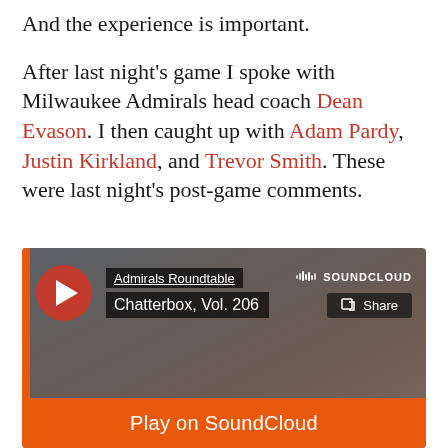And the experience is important.
After last night’s game I spoke with Milwaukee Admirals head coach Dean Evason. I then caught up with Adam Pardy, Justin Kirkland, and Trevor Smith. These were last night’s post-game comments.
[Figure (screenshot): SoundCloud embedded player showing 'Admirals Roundtable - Chatterbox, Vol. 206' with a red play button, SoundCloud logo, Share button, and an orange 'Play on SoundCloud' bar at the bottom.]